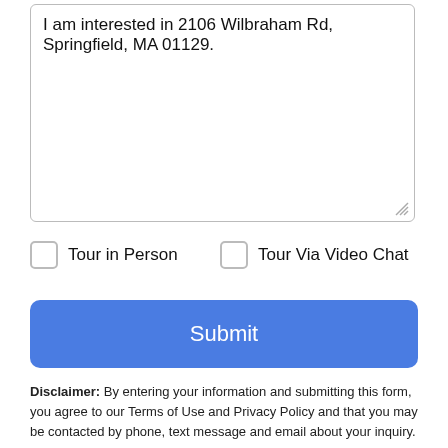I am interested in 2106 Wilbraham Rd, Springfield, MA 01129.
Tour in Person
Tour Via Video Chat
Submit
Disclaimer: By entering your information and submitting this form, you agree to our Terms of Use and Privacy Policy and that you may be contacted by phone, text message and email about your inquiry.
The property listing data and information set forth herein were
Take a Tour
Ask A Question